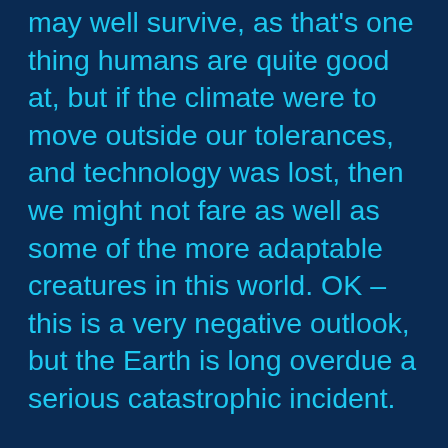may well survive, as that's one thing humans are quite good at, but if the climate were to move outside our tolerances, and technology was lost, then we might not fare as well as some of the more adaptable creatures in this world. OK – this is a very negative outlook, but the Earth is long overdue a serious catastrophic incident.
So what can we do to ensure humanity's survival (if this would definitely be a good thing anyway)? Well if we could establish a viable colony on another planet, and Mars is ideally situated for such a colony, then losing the Earth might not mean the end of humanity. Also Mars might provide minerals and ores that are in short supply on the Earth, although transportation costs might be a little steep, and may also provide easily accessible micro-gravity environments for drug and nano-tech manufacture. Mars would also become a